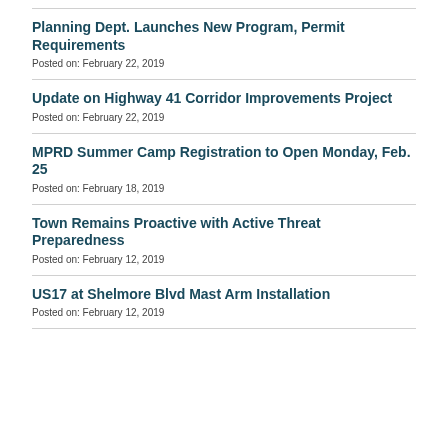Planning Dept. Launches New Program, Permit Requirements
Posted on: February 22, 2019
Update on Highway 41 Corridor Improvements Project
Posted on: February 22, 2019
MPRD Summer Camp Registration to Open Monday, Feb. 25
Posted on: February 18, 2019
Town Remains Proactive with Active Threat Preparedness
Posted on: February 12, 2019
US17 at Shelmore Blvd Mast Arm Installation
Posted on: February 12, 2019